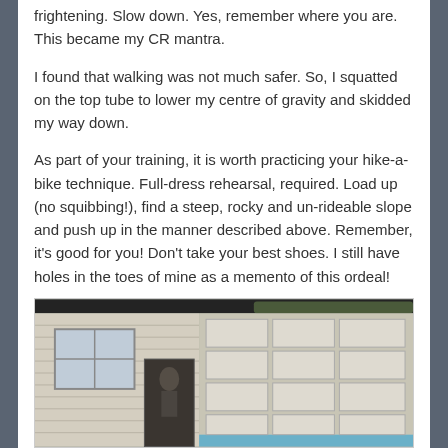frightening. Slow down. Yes, remember where you are. This became my CR mantra.
I found that walking was not much safer. So, I squatted on the top tube to lower my centre of gravity and skidded my way down.
As part of your training, it is worth practicing your hike-a-bike technique. Full-dress rehearsal, required. Load up (no squibbing!), find a steep, rocky and un-rideable slope and push up in the manner described above. Remember, it's good for you! Don't take your best shoes. I still have holes in the toes of mine as a memento of this ordeal!
[Figure (photo): A photo of a building exterior showing siding on the left and a garage door with grid panels on the right, with a dark roof visible at the top and a person partially visible in the doorway area.]